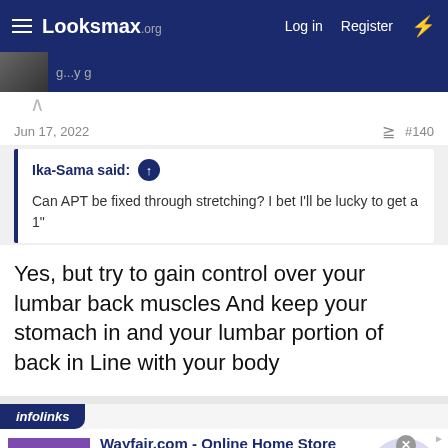Looksmax.org — Log in  Register
Jun 17, 2022  #140
Ika-Sama said: ↑

Can APT be fixed through stretching? I bet I'll be lucky to get a 1"
Yes, but try to gain control over your lumbar back muscles And keep your stomach in and your lumbar portion of back in Line with your body
[Figure (screenshot): Infolinks advertisement for Wayfair.com - Online Home Store Sale! with bedroom furniture image and navigation arrow button]